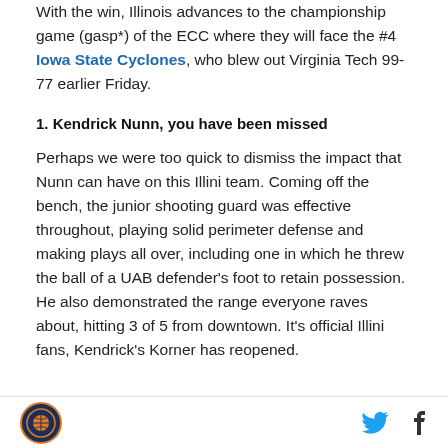With the win, Illinois advances to the championship game (gasp*) of the ECC where they will face the #4 Iowa State Cyclones, who blew out Virginia Tech 99-77 earlier Friday.
1. Kendrick Nunn, you have been missed
Perhaps we were too quick to dismiss the impact that Nunn can have on this Illini team. Coming off the bench, the junior shooting guard was effective throughout, playing solid perimeter defense and making plays all over, including one in which he threw the ball of a UAB defender's foot to retain possession. He also demonstrated the range everyone raves about, hitting 3 of 5 from downtown. It's official Illini fans, Kendrick's Korner has reopened.
Footer with logo and social icons